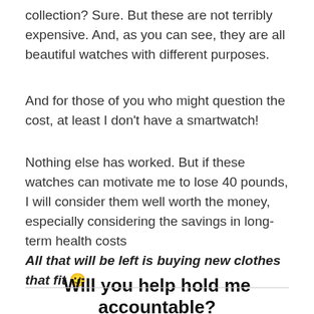collection? Sure. But these are not terribly expensive. And, as you can see, they are all beautiful watches with different purposes.
And for those of you who might question the cost, at least I don't have a smartwatch!
Nothing else has worked. But if these watches can motivate me to lose 40 pounds, I will consider them well worth the money, especially considering the savings in long-term health costs
All that will be left is buying new clothes that fit 🙂
Will you help hold me accountable?